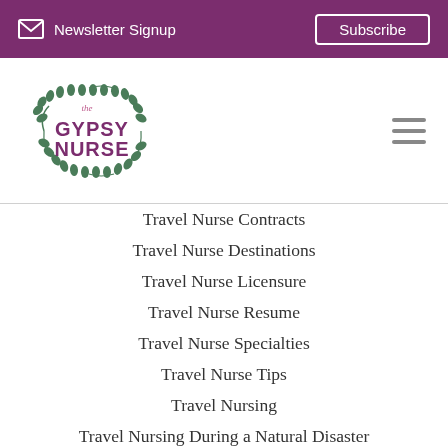Newsletter Signup  Subscribe
[Figure (logo): The Gypsy Nurse logo with circular laurel wreath and stylized text]
Travel Nurse Contracts
Travel Nurse Destinations
Travel Nurse Licensure
Travel Nurse Resume
Travel Nurse Specialties
Travel Nurse Tips
Travel Nursing
Travel Nursing During a Natural Disaster